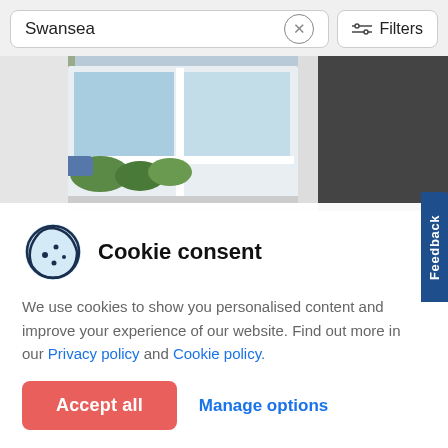Swansea
Filters
[Figure (photo): Interior room photo showing a window with daylight and a dark grey feature wall]
Cookie consent
We use cookies to show you personalised content and improve your experience of our website. Find out more in our Privacy policy and Cookie policy.
Accept all
Manage options
Feedback